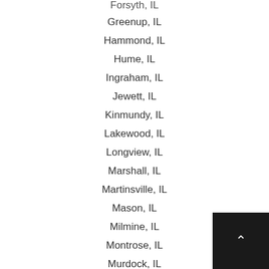Forsyth, IL
Greenup, IL
Hammond, IL
Hume, IL
Ingraham, IL
Jewett, IL
Kinmundy, IL
Lakewood, IL
Longview, IL
Marshall, IL
Martinsville, IL
Mason, IL
Milmine, IL
Montrose, IL
Murdock, IL
Neoga, IL
Newman, IL
Nokomis, IL
Oakland, IL